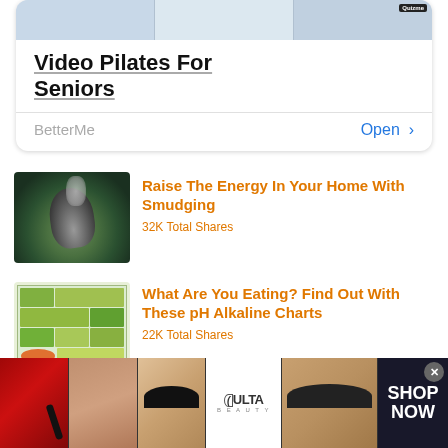[Figure (screenshot): App store ad card for BetterMe - Video Pilates For Seniors with Open button]
Video Pilates For Seniors
BetterMe    Open >
[Figure (photo): Smudging sage bundle in a bowl with smoke]
Raise The Energy In Your Home With Smudging
32K Total Shares
[Figure (infographic): pH Alkaline food chart]
What Are You Eating? Find Out With These pH Alkaline Charts
22K Total Shares
[Figure (screenshot): ULTA Beauty advertisement banner with makeup images and SHOP NOW call to action]